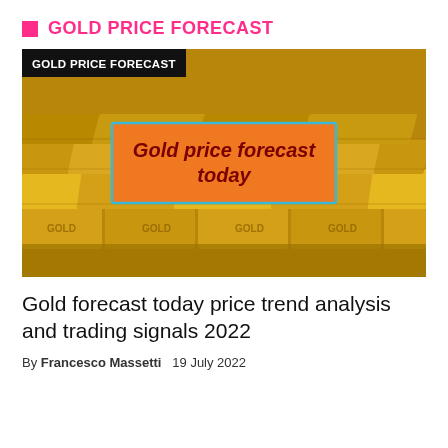GOLD PRICE FORECAST
[Figure (photo): Photo of stacked gold bars with an overlay box reading 'Gold price forecast today' on an orange background with teal border. A black banner at top left reads 'GOLD PRICE FORECAST'.]
Gold forecast today price trend analysis and trading signals 2022
By Francesco Massetti   19 July 2022